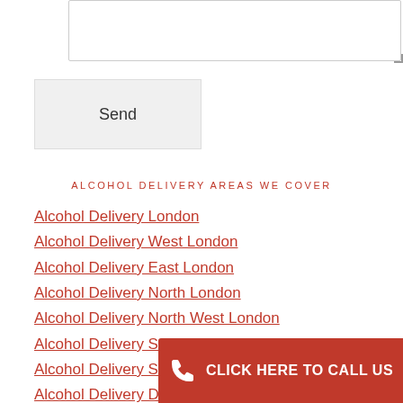[Figure (other): Text area input box (form element)]
Send
ALCOHOL DELIVERY AREAS WE COVER
Alcohol Delivery London
Alcohol Delivery West London
Alcohol Delivery East London
Alcohol Delivery North London
Alcohol Delivery North West London
Alcohol Delivery South East London
Alcohol Delivery South West London
Alcohol Delivery Dartford
[Figure (other): Red call-to-action banner with phone icon and text 'CLICK HERE TO CALL US']